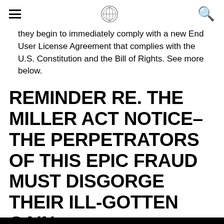≡  [logo]  🔍
they begin to immediately comply with a new End User License Agreement that complies with the U.S. Constitution and the Bill of Rights. See more below.
REMINDER RE. THE MILLER ACT NOTICE–THE PERPETRATORS OF THIS EPIC FRAUD MUST DISGORGE THEIR ILL-GOTTEN GAIN